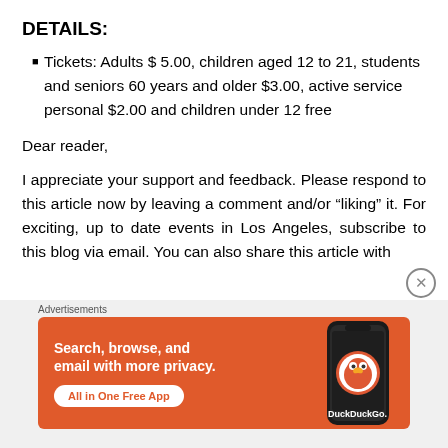DETAILS:
Tickets: Adults $ 5.00,  children aged 12 to 21, students and seniors 60 years and older $3.00, active service personal $2.00 and children under 12 free
Dear reader,
I appreciate your support and feedback. Please respond to this article now by leaving a comment and/or “liking” it. For exciting, up to date events in Los Angeles, subscribe to this blog via email. You can also share this article with
[Figure (infographic): DuckDuckGo advertisement banner with orange background showing 'Search, browse, and email with more privacy. All in One Free App' with a phone displaying DuckDuckGo logo]